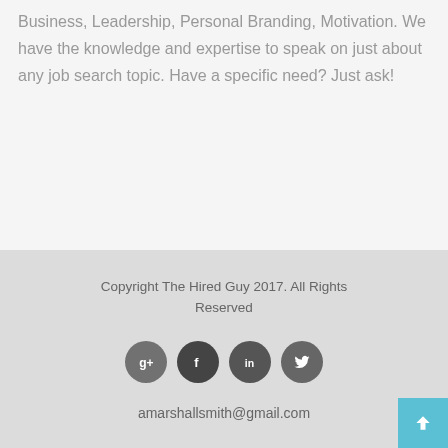Business, Leadership, Personal Branding, Motivation. We have the knowledge and expertise to speak on just about any job search topic. Have a specific need? Just ask!
Copyright The Hired Guy 2017. All Rights Reserved
amarshallsmith@gmail.com